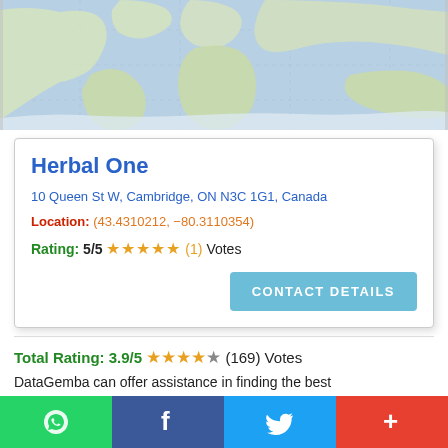[Figure (map): World map (Google Maps style) showing continents with light blue ocean and beige/green landmasses. Top portion of a location map widget.]
Herbal One
10 Queen St W, Cambridge, ON N3C 1G1, Canada
Location: (43.4310212, -80.3110354)
Rating: 5/5 ★★★★★ (1) Votes
CONTACT DETAILS
Total Rating: 3.9/5 ★★★★☆ (169) Votes
DataGemba can offer assistance in finding the best